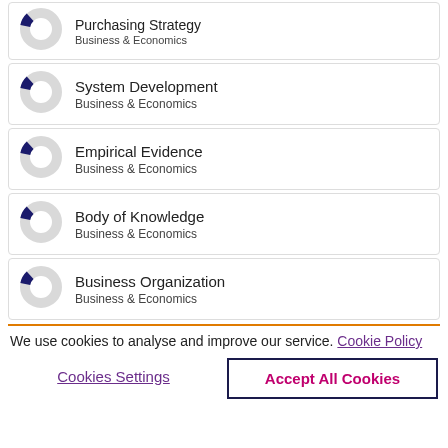Purchasing Strategy / Business & Economics
System Development / Business & Economics
Empirical Evidence / Business & Economics
Body of Knowledge / Business & Economics
Business Organization / Business & Economics
We use cookies to analyse and improve our service. Cookie Policy
Cookies Settings
Accept All Cookies